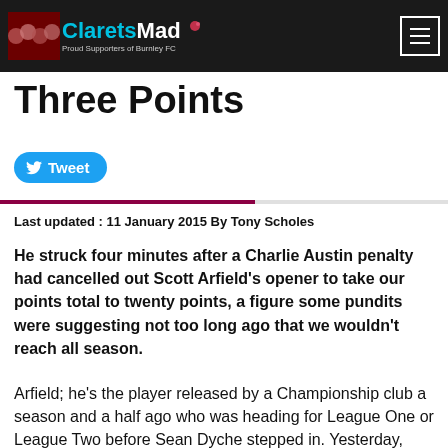ClaretsMad — Proud Supporters of Burnley FC
Three Points
Tweet
Last updated : 11 January 2015 By Tony Scholes
He struck four minutes after a Charlie Austin penalty had cancelled out Scott Arfield's opener to take our points total to twenty points, a figure some pundits were suggesting not too long ago that we wouldn't reach all season.
Arfield; he's the player released by a Championship club a season and a half ago who was heading for League One or League Two before Sean Dyche stepped in. Yesterday, Dyche was comparing him to Alexis Sanchez in terms of the quality of his goal whilst Harry Redknapp was confirming that we hadn't signed Lionel Messi